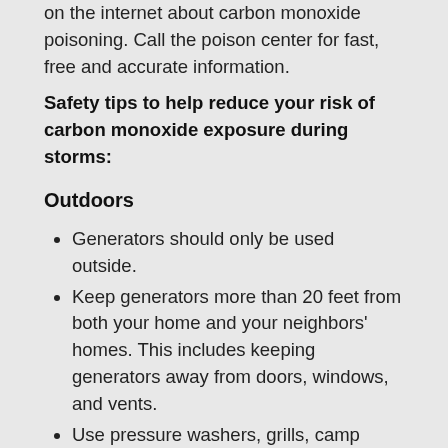on the internet about carbon monoxide poisoning. Call the poison center for fast, free and accurate information.
Safety tips to help reduce your risk of carbon monoxide exposure during storms:
Outdoors
Generators should only be used outside.
Keep generators more than 20 feet from both your home and your neighbors' homes. This includes keeping generators away from doors, windows, and vents.
Use pressure washers, grills, camp stoves, or other gasoline, propane, natural gas, or charcoal-burning devices outdoors only. It